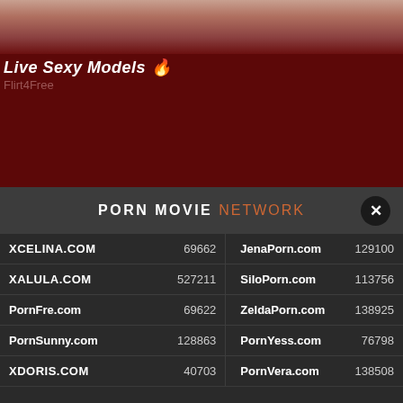[Figure (photo): Top banner area with skin-tone gradient at top and dark red background. Shows partial image at very top.]
Live Sexy Models 🔥
Flirt4Free
PORN MOVIE NETWORK
| Site | Count | Site | Count |
| --- | --- | --- | --- |
| XCELINA.COM | 69662 | JenaPorn.com | 129100 |
| XALULA.COM | 527211 | SiloPorn.com | 113756 |
| PornFre.com | 69622 | ZeldaPorn.com | 138925 |
| PornSunny.com | 128863 | PornYess.com | 76798 |
| XDORIS.COM | 40703 | PornVera.com | 138508 |